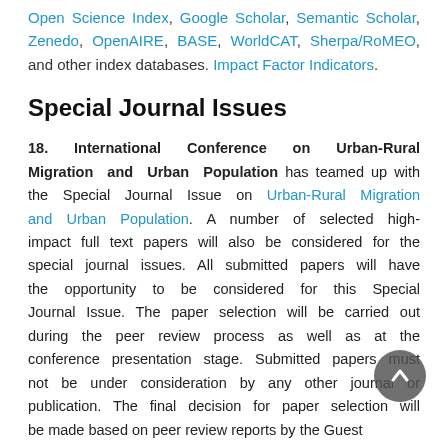Open Science Index, Google Scholar, Semantic Scholar, Zenedo, OpenAIRE, BASE, WorldCAT, Sherpa/RoMEO, and other index databases. Impact Factor Indicators.
Special Journal Issues
18. International Conference on Urban-Rural Migration and Urban Population has teamed up with the Special Journal Issue on Urban-Rural Migration and Urban Population. A number of selected high-impact full text papers will also be considered for the special journal issues. All submitted papers will have the opportunity to be considered for this Special Journal Issue. The paper selection will be carried out during the peer review process as well as at the conference presentation stage. Submitted papers must not be under consideration by any other journal or publication. The final decision for paper selection will be made based on peer review reports by the Guest